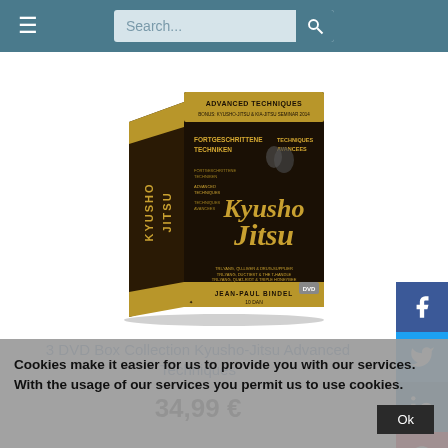Navigation bar with hamburger menu and search box
[Figure (photo): 3 DVD Box Collection Kyusho-Jitsu Advanced Techniques product box image. Dark box with gold trim showing martial arts practitioners and Kyusho-Jitsu branding. Text: ADVANCED TECHNIQUES, FORTGESCHRITTENE TECHNIKEN, TECHNIQUES AVANCEES, JEAN-PAUL BINDEL, 10 DAN.]
3 DVD Box Collection Kyusho-Jitsu Advanced Techniques
34,99 €
Cookies make it easier for us to provide you with our services. With the usage of our services you permit us to use cookies.